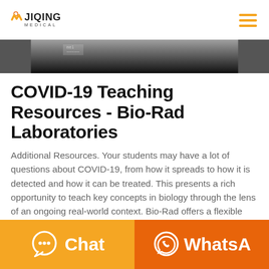JIQING MEDICAL
[Figure (photo): Partial view of a dark product/lab image banner]
COVID-19 Teaching Resources - Bio-Rad Laboratories
Additional Resources. Your students may have a lot of questions about COVID-19, from how it spreads to how it is detected and how it can be treated. This presents a rich opportunity to teach key concepts in biology through the lens of an ongoing real-world context. Bio-Rad offers a flexible array of hands-on
Chat | WhatsApp